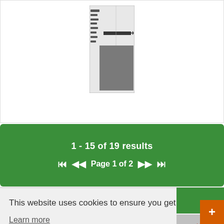[Figure (photo): Western blot gel image showing two lanes with a dark band and molecular weight markers on the left side]
1 - 15 of 19 results
Page 1 of 2
This website uses cookies to ensure you get the best experience on our website.
Learn more
Got it!
Antibodies (1
Live Chat Online